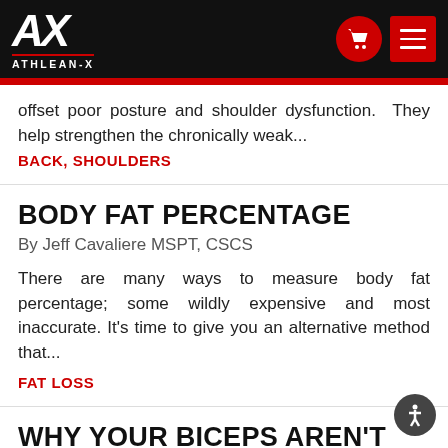ATHLEAN-X
offset poor posture and shoulder dysfunction.  They help strengthen the chronically weak...
BACK, SHOULDERS
BODY FAT PERCENTAGE
By Jeff Cavaliere MSPT, CSCS
There are many ways to measure body fat percentage; some wildly expensive and most inaccurate. It's time to give you an alternative method that...
FAT LOSS
WHY YOUR BICEPS AREN'T GROWING
By Jeff Cavaliere MSPT, CSCS